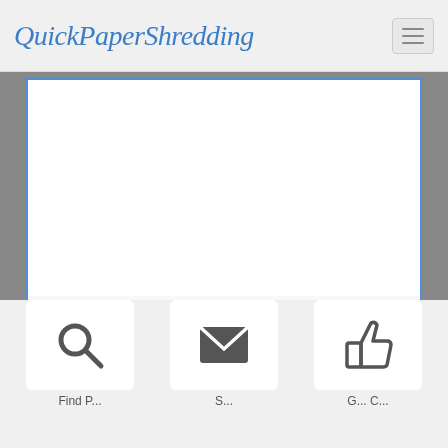QuickPaperShredding
[Figure (screenshot): White form card with blue border, Back and Next navigation buttons]
Find P... | S... | G... C...